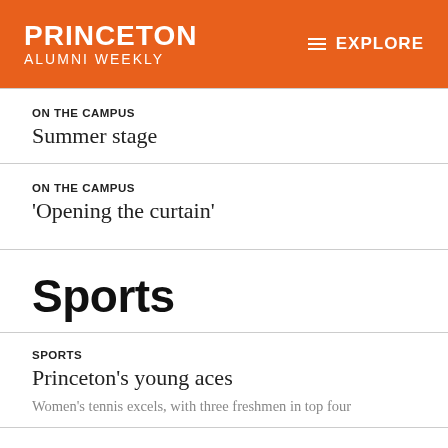PRINCETON ALUMNI WEEKLY
ON THE CAMPUS
Summer stage
ON THE CAMPUS
'Opening the curtain'
Sports
SPORTS
Princeton's young aces
Women's tennis excels, with three freshmen in top four